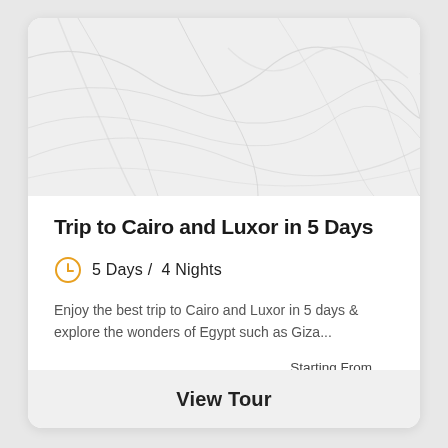[Figure (illustration): Marble texture background image at the top of a travel tour card]
Trip to Cairo and Luxor in 5 Days
5 Days / 4 Nights
Enjoy the best trip to Cairo and Luxor in 5 days & explore the wonders of Egypt such as Giza...
Starting From $599
View Tour